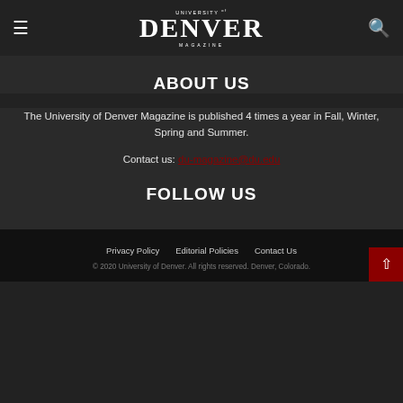University of Denver Magazine
ABOUT US
The University of Denver Magazine is published 4 times a year in Fall, Winter, Spring and Summer.
Contact us: du-magazine@du.edu
FOLLOW US
Privacy Policy   Editorial Policies   Contact Us
© 2020 University of Denver. All rights reserved. Denver, Colorado.